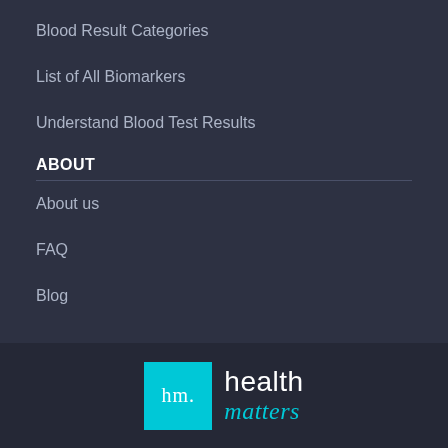Blood Result Categories
List of All Biomarkers
Understand Blood Test Results
ABOUT
About us
FAQ
Blog
[Figure (logo): Health Matters logo: cyan square with 'hm.' text, followed by 'health matters' wordmark in white and cyan]